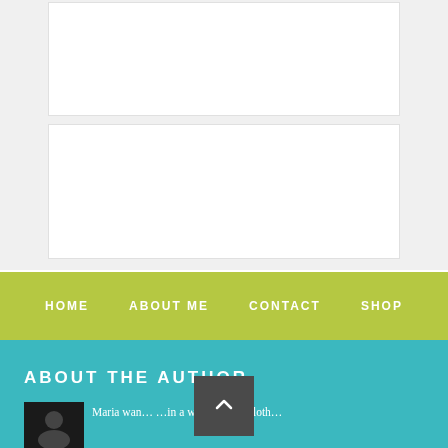[Figure (other): White content card (top), empty white rectangle on light gray background]
[Figure (other): White content card (bottom), empty white rectangle on light gray background]
HOME   ABOUT ME   CONTACT   SHOP
ABOUT THE AUTHOR
[Figure (photo): Small dark author photo thumbnail]
Maria wan… …in a world where cloth…